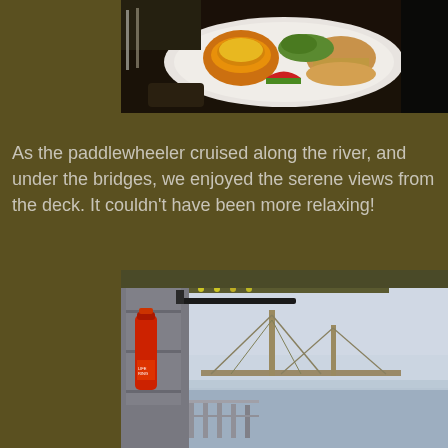[Figure (photo): A plate of food on a dark background, showing what appears to be a casserole in an orange squash bowl, a sandwich or burger, greens/salad, and a slice of watermelon on a white plate.]
As the paddlewheeler cruised along the river, and under the bridges, we enjoyed the serene views from the deck. It couldn't have been more relaxing!
[Figure (photo): A view from the deck of a paddlewheeler boat, showing the ship's railing, a red life preserver/buoy mounted on the grey hull, and a bridge visible in the background over a river, with a hazy sky.]